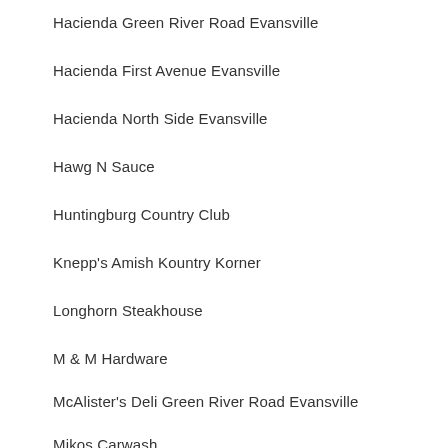Hacienda Green River Road Evansville
Hacienda First Avenue Evansville
Hacienda North Side Evansville
Hawg N Sauce
Huntingburg Country Club
Knepp's Amish Kountry Korner
Longhorn Steakhouse
M & M Hardware
McAlister's Deli Green River Road Evansville
Mikos Carwash